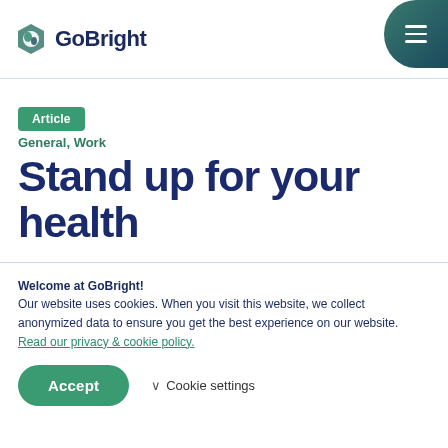GoBright
Article
General, Work
Stand up for your health
Welcome at GoBright!
Our website uses cookies. When you visit this website, we collect anonymized data to ensure you get the best experience on our website. Read our privacy & cookie policy.
Accept   Cookie settings